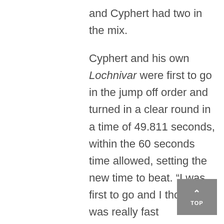and Cyphert had two in the mix.
Cyphert and his own Lochnivar were first to go in the jump off order and turned in a clear round in a time of 49.811 seconds, within the 60 seconds time allowed, setting the new time to beat. “I was first to go and I thought I was really fast on Lochnivar and thought he was really good. I’m at the in gate discussing strategy with my girlfriend Kelly and I turned to Pedro Tamayo who is my longtime groom and in charge of Hector and said, ‘I don’t think I can go that fast on Hector’. Then Jorge [Ludwig] went in and beat